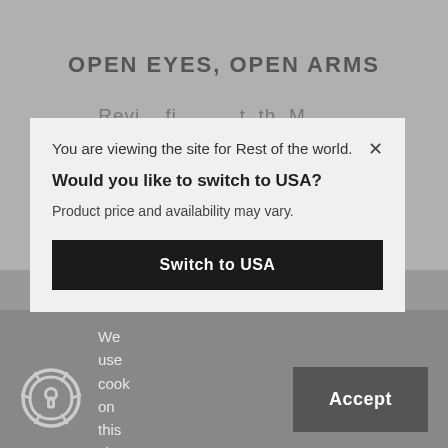OPEN EYES, OPEN ARMS
Revi...
You are viewing the site for Rest of the world.
Would you like to switch to USA?
Product price and availability may vary.
Switch to USA
[Figure (illustration): Cookie/privacy shield icon — circular shield with keyhole symbol]
We use cook on this site
Accept